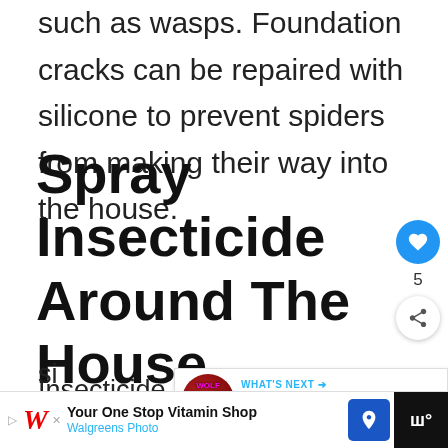such as wasps. Foundation cracks can be repaired with silicone to prevent spiders from making their way into the house.
Spray Insecticide Around The House
Insecticide sprayed around the h…
creates an invisible barrier against Wolf
[Figure (screenshot): What's Next sidebar widget showing Wolf Spiders in Michigan article thumbnail]
[Figure (screenshot): Like/heart button with count 5 and share button sidebar]
[Figure (screenshot): Advertisement banner: Walgreens Photo - Your One Stop Vitamin Shop]